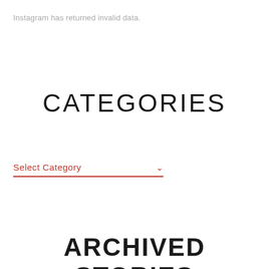Instagram has returned invalid data.
CATEGORIES
Select Category
ARCHIVED STORIES